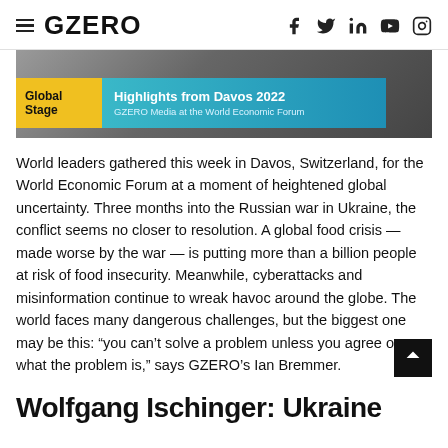GZERO
[Figure (photo): Hero image showing Global Stage banner with text 'Highlights from Davos 2022 – GZERO Media at the World Economic Forum' overlaid on a background photo of what appears to be a fence or structure]
World leaders gathered this week in Davos, Switzerland, for the World Economic Forum at a moment of heightened global uncertainty. Three months into the Russian war in Ukraine, the conflict seems no closer to resolution. A global food crisis — made worse by the war — is putting more than a billion people at risk of food insecurity. Meanwhile, cyberattacks and misinformation continue to wreak havoc around the globe. The world faces many dangerous challenges, but the biggest one may be this: “you can’t solve a problem unless you agree on what the problem is,” says GZERO’s Ian Bremmer.
Wolfgang Ischinger: Ukraine